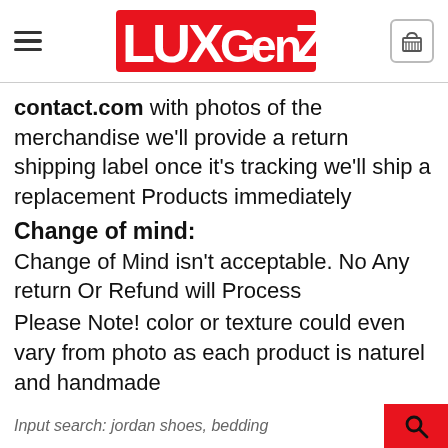LUXGENZ
contact.com with photos of the merchandise we'll provide a return shipping label once it's tracking we'll ship a replacement Products immediately
Change of mind:
Change of Mind isn't acceptable. No Any return Or Refund will Process
Please Note! color or texture could even vary from photo as each product is naturel and handmade
Input search: jordan shoes, bedding